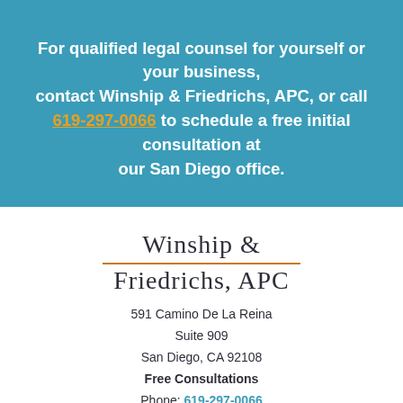For qualified legal counsel for yourself or your business, contact Winship & Friedrichs, APC, or call 619-297-0066 to schedule a free initial consultation at our San Diego office.
Winship & Friedrichs, APC
591 Camino De La Reina
Suite 909
San Diego, CA 92108
Free Consultations
Phone: 619-297-0066
Fax: 619-297-6000